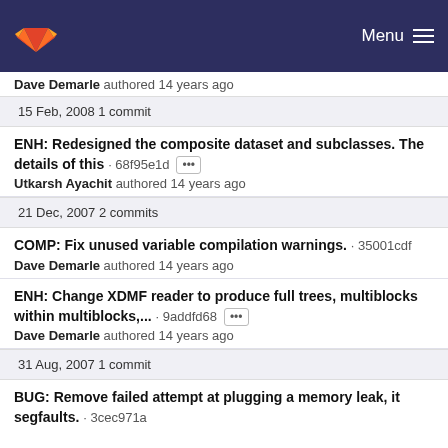Menu
Dave Demarle authored 14 years ago
15 Feb, 2008 1 commit
ENH: Redesigned the composite dataset and subclasses. The details of this · 68f95e1d ...
Utkarsh Ayachit authored 14 years ago
21 Dec, 2007 2 commits
COMP: Fix unused variable compilation warnings. · 35001cdf
Dave Demarle authored 14 years ago
ENH: Change XDMF reader to produce full trees, multiblocks within multiblocks,... · 9addfd68 ...
Dave Demarle authored 14 years ago
31 Aug, 2007 1 commit
BUG: Remove failed attempt at plugging a memory leak, it segfaults. · 3cec971a